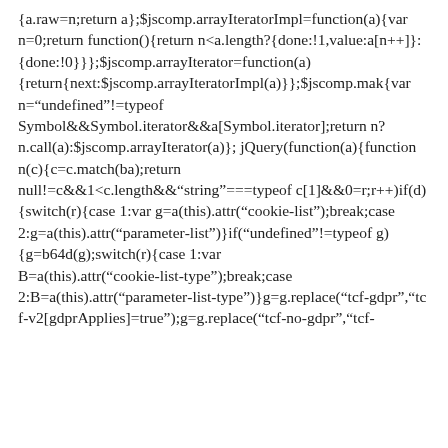{a.raw=n;return a};$jscomp.arrayIteratorImpl=function(a){var n=0;return function(){return n<a.length?{done:!1,value:a[n++]}:{done:!0}}};$jscomp.arrayIterator=function(a){return{next:$jscomp.arrayIteratorImpl(a)}};$jscomp.make{var n="undefined"!=typeof Symbol&&Symbol.iterator&&a[Symbol.iterator];return n?n.call(a):$jscomp.arrayIterator(a)};jQuery(function(a){function n(c){c=c.match(ba);return null!=c&&1<c.length&&"string"===typeof c[1]&&0=r;r++)if(d){switch(r){case 1:var g=a(this).attr("cookie-list");break;case 2:g=a(this).attr("parameter-list")}if("undefined"!=typeof g){g=b64d(g);switch(r){case 1:var B=a(this).attr("cookie-list-type");break;case 2:B=a(this).attr("parameter-list-type")}g=g.replace("tcf-gdpr","tcf-v2[gdprApplies]=true");g=g.replace("tcf-no-gdpr","tcf-